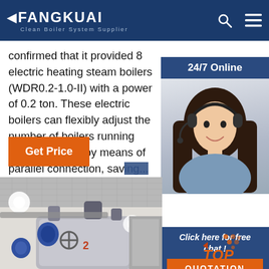FANGKUAI Clean Boiler System Supplier
confirmed that it provided 8 electric heating steam boilers (WDR0.2-1.0-II) with a power of 0.2 ton. These electric boilers can flexibly adjust the number of boilers running and operations by means of parallel connection, sav...
[Figure (other): 24/7 Online widget with customer service agent photo]
Get Price
[Figure (other): Click here for free chat and QUOTATION button widget]
[Figure (photo): Industrial boiler room with large blue boiler equipment, pipes, and bright lighting]
[Figure (other): TOP navigation button with orange dots decoration]